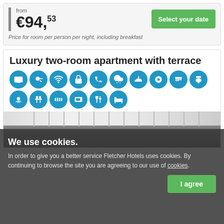from
€94,53
Select your date
Price for room per person per night, including breakfast
Luxury two-room apartment with terrace
[Figure (infographic): Row of circular blue amenity icons (TV, hair dryer, WiFi, lock, phone, rain, iron, toilet paper, brush, toilet, shower, table/chairs, heating, oven, restaurant/dining, bed)]
[Figure (photo): Interior photo of a hotel room/apartment, partially visible]
We use cookies.
In order to give you a better service Fletcher Hotels uses cookies. By continuing to browse the site you are agreeing to our use of cookies.
I agree